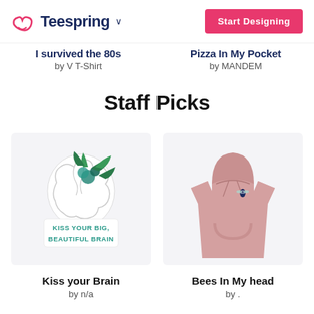Teespring — Start Designing
I survived the 80s by V T-Shirt
Pizza In My Pocket by MANDEM
Staff Picks
[Figure (photo): Sticker product: brain with floral design and text 'KISS YOUR BIG, BEAUTIFUL BRAIN']
[Figure (photo): Pink hoodie sweatshirt product with small bee embroidery]
Kiss your Brain by n/a
Bees In My head by .